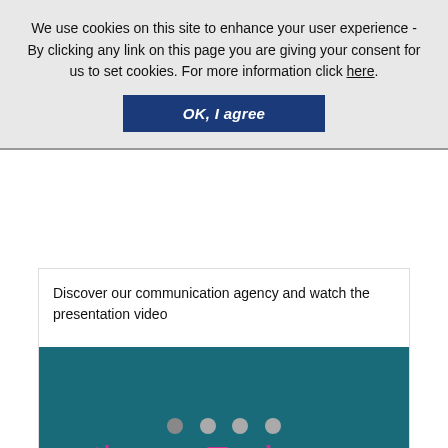We use cookies on this site to enhance your user experience - By clicking any link on this page you are giving your consent for us to set cookies. For more information click here.
OK, I agree
Discover our communication agency and watch the presentation video
[Figure (screenshot): The Embassy communication agency video thumbnail on teal background with logo text 'the Embassy - Think. Hack. Change.' and a WATCH VIDEO button]
WATCH VIDEO